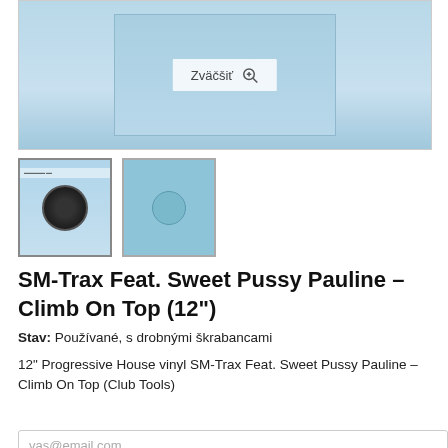[Figure (photo): Main product image of a vinyl record in blue sleeve with zoom button overlay reading 'Zväčšiť']
[Figure (photo): Two thumbnail images of vinyl record product in blue sleeve]
SM-Trax Feat. Sweet Pussy Pauline – Climb On Top (12")
Stav: Používané, s drobnými škrabancami
12" Progressive House vinyl SM-Trax Feat. Sweet Pussy Pauline – Climb On Top (Club Tools)
Už nieje skladom
vas@email.com